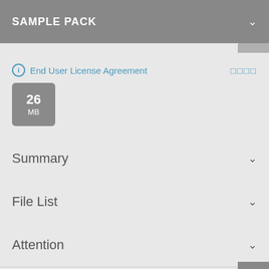SAMPLE PACK
ⓘ End User License Agreement  □□□□
26 MB
Summary
File List
Attention